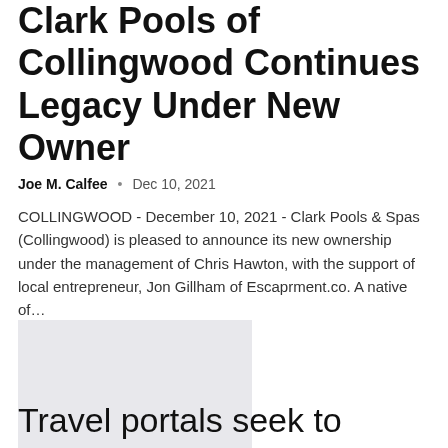Clark Pools of Collingwood Continues Legacy Under New Owner
Joe M. Calfee • Dec 10, 2021
COLLINGWOOD - December 10, 2021 - Clark Pools & Spas (Collingwood) is pleased to announce its new ownership under the management of Chris Hawton, with the support of local entrepreneur, Jon Gillham of Escaprment.co. A native of…
[Figure (photo): Gray placeholder image block]
Travel portals seek to entice